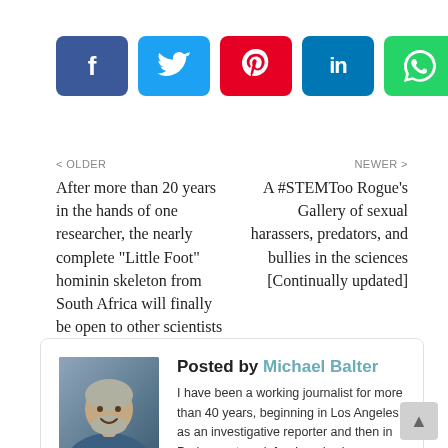[Figure (infographic): Row of 6 social sharing buttons: Facebook (dark blue, f), Twitter (light blue, bird), Pinterest (red, p), LinkedIn (blue, in), WhatsApp (green, phone), Email (grey, envelope)]
< OLDER
After more than 20 years in the hands of one researcher, the nearly complete "Little Foot" hominin skeleton from South Africa will finally be open to other scientists at the end of November
NEWER >
A #STEMToo Rogue's Gallery of sexual harassers, predators, and bullies in the sciences [Continually updated]
Posted by Michael Balter
I have been a working journalist for more than 40 years, beginning in Los Angeles as an investigative reporter and then in Paris as a travel, food, and science writer. For more than 20 years I have covered